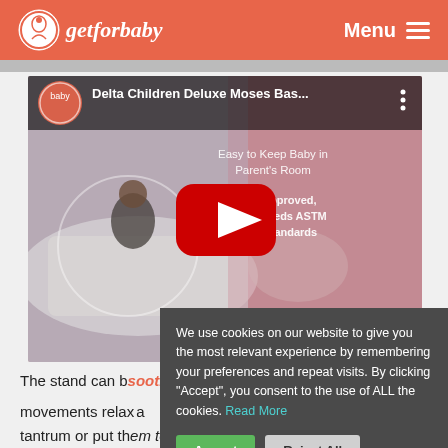getforbaby — Menu
[Figure (screenshot): YouTube video thumbnail for 'Delta Children Deluxe Moses Bas...' showing a woman sitting next to a bassinet. Text overlay: 'Easy to Keep Baby in Parent's Room', 'JPMA Approved, Meets or Exceeds ASTM & CPSC Standards'. Red YouTube play button in center.]
The stand can be a soothing rocking [motion] ...e movements relax...a tantrum or put th[em to sleep].
We use cookies on our website to give you the most relevant experience by remembering your preferences and repeat visits. By clicking “Accept”, you consent to the use of ALL the cookies. Read More
Accept
Reject All